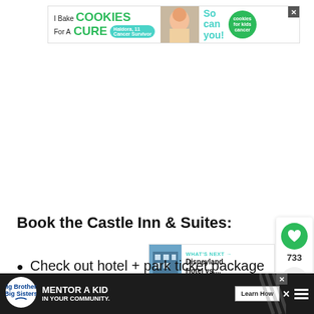[Figure (infographic): Advertisement banner: 'I Bake COOKIES For A CURE' - Haldora, 11 Cancer Survivor. Cookies for Kids Cancer. So can you! With X close button.]
[Figure (infographic): UI sidebar with heart icon (733 likes) and share button on the right side of the page.]
Book the Castle Inn & Suites:
[Figure (infographic): WHAT'S NEXT arrow. Disneyland Hotel vs.... thumbnail with hotel image.]
Check out hotel + park ticket package
[Figure (infographic): Bottom advertisement bar: Big Brothers Big Sisters logo. MENTOR A KID IN YOUR COMMUNITY. Learn How button. Close X button with menu lines and diagonal pattern overlay.]